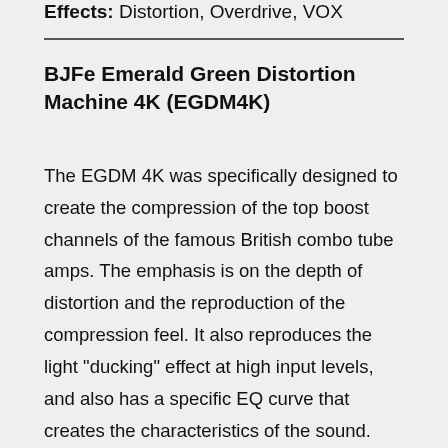Effects: Distortion, Overdrive, VOX
BJFe Emerald Green Distortion Machine 4K (EGDM4K)
The EGDM 4K was specifically designed to create the compression of the top boost channels of the famous British combo tube amps. The emphasis is on the depth of distortion and the reproduction of the compression feel. It also reproduces the light "ducking" effect at high input levels, and also has a specific EQ curve that creates the characteristics of the sound. The sound of EGDM 4K is a dynamic overdrive-distortion with a brilliant top end. As you can see from the British Racing green colour housing, it is the tone when the vintage class A tube amp made in England is top boosted.